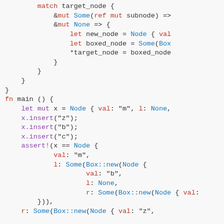[Figure (screenshot): Rust source code snippet showing a match expression on target_node with &mut Some and &mut None arms, followed by a fn main() function that creates a Node, inserts values, and asserts the structure.]